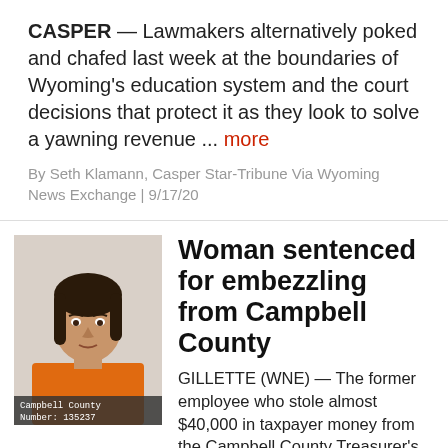CASPER — Lawmakers alternatively poked and chafed last week at the boundaries of Wyoming's education system and the court decisions that protect it as they look to solve a yawning revenue ... more
By Seth Klamann, Casper Star-Tribune Via Wyoming News Exchange | 9/17/20
[Figure (photo): Mugshot photo of a woman in an orange jumpsuit. Text overlay reads: Campbell County Number: 135237]
Woman sentenced for embezzling from Campbell County
GILLETTE (WNE) — The former employee who stole almost $40,000 in taxpayer money from the Campbell County Treasurer's Office is serving a 30-day split